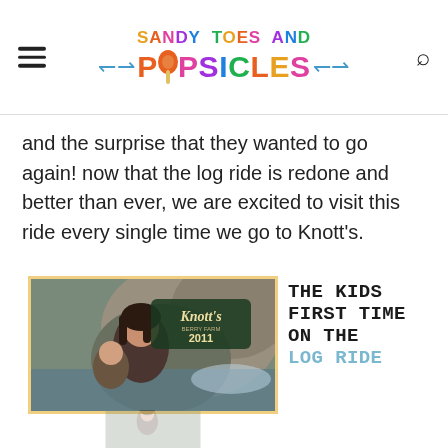Sandy Toes and Popsicles
and the surprise that they wanted to go again! now that the log ride is redone and better than ever, we are excited to visit this ride every single time we go to Knott's.
[Figure (photo): A woman and child riding the Knott's Berry Farm log ride in 2011, with a Knott's Berry Farm sign visible in the background. Below the main photo is a faded/ghost reflection of the same image.]
THE KIDS FIRST TIME ON THE LOG RIDE